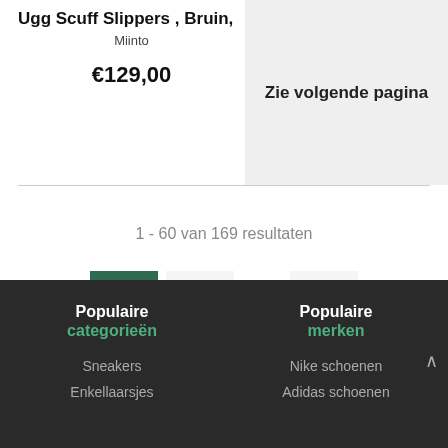Ugg Scuff Slippers , Bruin,
Miinto
€129,00
Zie volgende pagina
1 - 60 van 169 resultaten
1  2  ...  »
Populaire categorieën
Populaire merken
Sneakers
Nike schoenen
Enkellaarsjes
Adidas schoenen